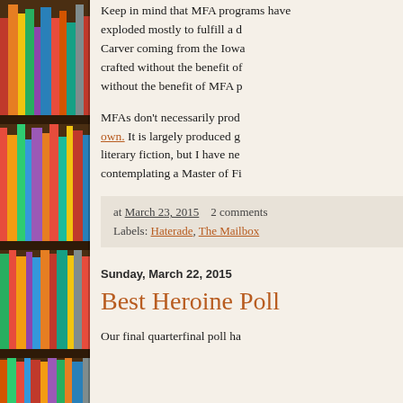[Figure (photo): Bookshelf with colorful books on wooden shelves, visible on the left side of the page]
Keep in mind that MFA programs have exploded mostly to fulfill a demand… Carver coming from the Iowa… crafted without the benefit of… without the benefit of MFA p…
MFAs don't necessarily produce their own. It is largely produced by… literary fiction, but I have ne… contemplating a Master of Fi…
at March 23, 2015   2 comments
Labels: Haterade, The Mailbox
Sunday, March 22, 2015
Best Heroine Poll
Our final quarterfinal poll ha…